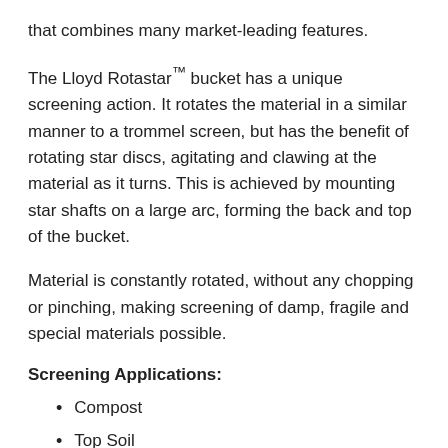that combines many market-leading features.
The Lloyd Rotastar™ bucket has a unique screening action. It rotates the material in a similar manner to a trommel screen, but has the benefit of rotating star discs, agitating and clawing at the material as it turns. This is achieved by mounting star shafts on a large arc, forming the back and top of the bucket.
Material is constantly rotated, without any chopping or pinching, making screening of damp, fragile and special materials possible.
Screening Applications:
Compost
Top Soil
Sand